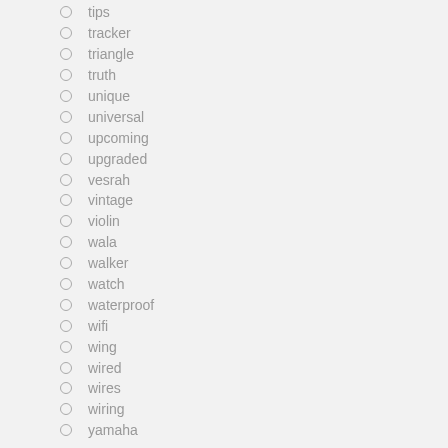tips
tracker
triangle
truth
unique
universal
upcoming
upgraded
vesrah
vintage
violin
wala
walker
watch
waterproof
wifi
wing
wired
wires
wiring
yamaha